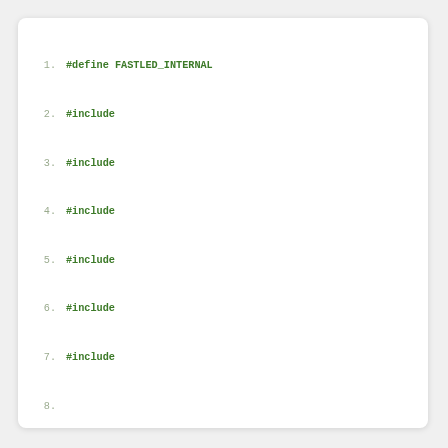Code listing: IRrecv/IRremoteESP8266 Arduino sketch, lines 1-24